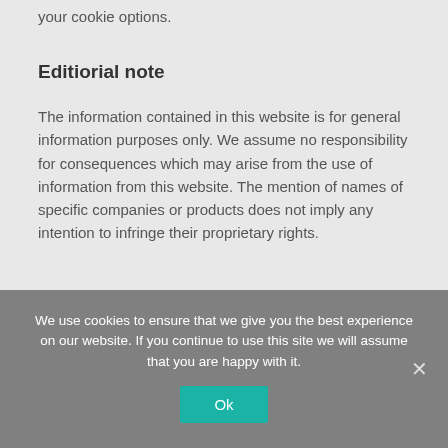your cookie options.
Editiorial note
The information contained in this website is for general information purposes only. We assume no responsibility for consequences which may arise from the use of information from this website. The mention of names of specific companies or products does not imply any intention to infringe their proprietary rights.
We use cookies to ensure that we give you the best experience on our website. If you continue to use this site we will assume that you are happy with it.